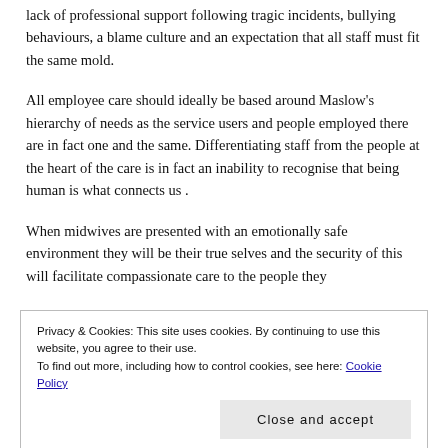lack of professional support following tragic incidents, bullying behaviours, a blame culture and an expectation that all staff must fit the same mold.
All employee care should ideally be based around Maslow’s hierarchy of needs as the service users and people employed there are in fact one and the same. Differentiating staff from the people at the heart of the care is in fact an inability to recognise that being human is what connects us .
When midwives are presented with an emotionally safe environment they will be their true selves and the security of this will facilitate compassionate care to the people they
Privacy & Cookies: This site uses cookies. By continuing to use this website, you agree to their use.
To find out more, including how to control cookies, see here: Cookie Policy
employees) will bring a consistently positive day to day